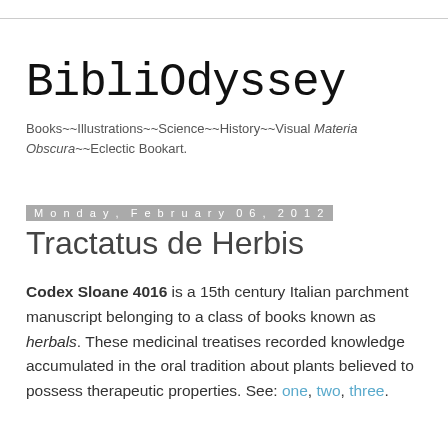BibliOdyssey
Books~~Illustrations~~Science~~History~~Visual Materia Obscura~~Eclectic Bookart.
Monday, February 06, 2012
Tractatus de Herbis
Codex Sloane 4016 is a 15th century Italian parchment manuscript belonging to a class of books known as herbals. These medicinal treatises recorded knowledge accumulated in the oral tradition about plants believed to possess therapeutic properties. See: one, two, three.